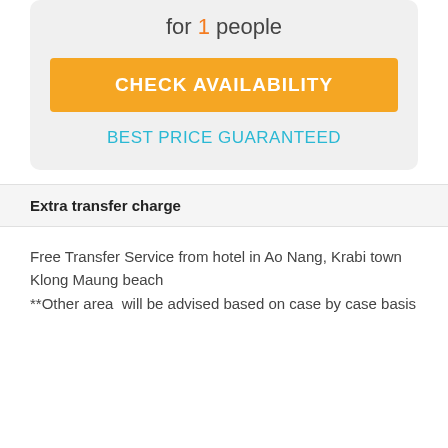for 1 people
CHECK AVAILABILITY
BEST PRICE GUARANTEED
Extra transfer charge
Free Transfer Service from hotel in Ao Nang, Krabi town  Klong Maung beach
**Other area  will be advised based on case by case basis